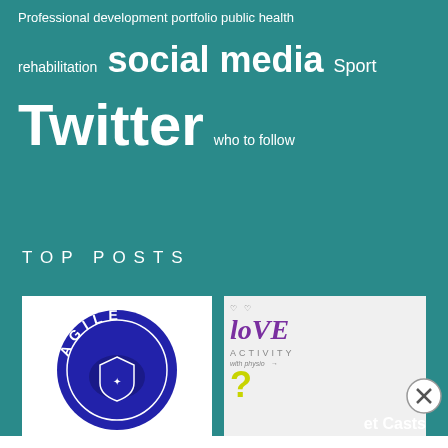Professional development portfolio public health
rehabilitation social media Sport
Twitter who to follow
TOP POSTS
[Figure (photo): Agile circular blue logo with text AGILE around the border]
[Figure (photo): Love Activity graphic with purple handwritten text and yellow question mark, with 'with physio' text]
et Casts
Privacy & Cookies: This site uses cookies. By continuing to use this website, you agree to their use.
To find out more, including how to control cookies, see here: Cookie Policy
Close and accept